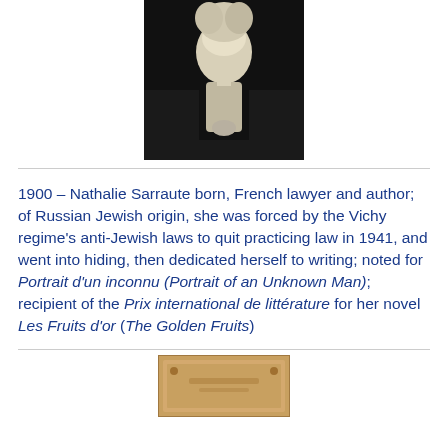[Figure (photo): Black and white photograph of a person (Nathalie Sarraute), upper body, against dark background]
1900 – Nathalie Sarraute born, French lawyer and author; of Russian Jewish origin, she was forced by the Vichy regime's anti-Jewish laws to quit practicing law in 1941, and went into hiding, then dedicated herself to writing; noted for Portrait d'un inconnu (Portrait of an Unknown Man); recipient of the Prix international de littérature for her novel Les Fruits d'or (The Golden Fruits)
[Figure (photo): Partial view of a sepia/tan colored photograph or document at the bottom of the page]